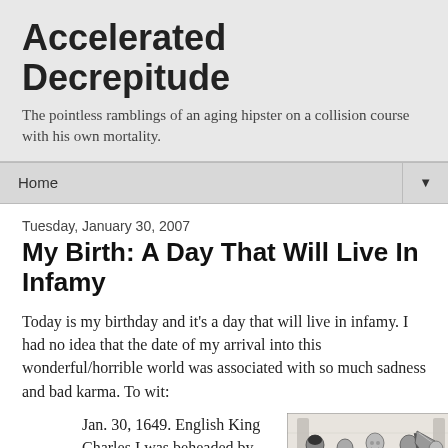Accelerated Decrepitude
The pointless ramblings of an aging hipster on a collision course with his own mortality.
Home ▼
Tuesday, January 30, 2007
My Birth: A Day That Will Live In Infamy
Today is my birthday and it's a day that will live in infamy. I had no idea that the date of my arrival into this wonderful/horrible world was associated with so much sadness and bad karma. To wit:
Jan. 30, 1649. English King Charles I was beheaded by order of Parliament
[Figure (illustration): Historical woodcut-style illustration showing figures in period clothing, one holding an axe, depicting an execution scene]